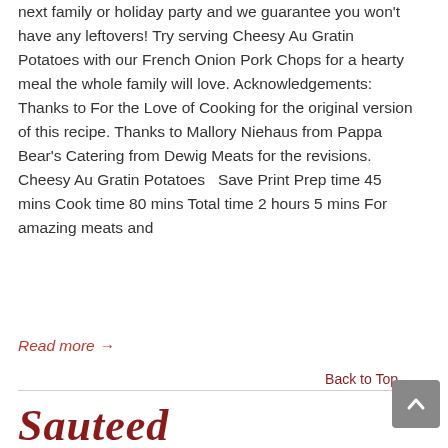next family or holiday party and we guarantee you won't have any leftovers! Try serving Cheesy Au Gratin Potatoes with our French Onion Pork Chops for a hearty meal the whole family will love. Acknowledgements: Thanks to For the Love of Cooking for the original version of this recipe. Thanks to Mallory Niehaus from Pappa Bear's Catering from Dewig Meats for the revisions. Cheesy Au Gratin Potatoes   Save Print Prep time 45 mins Cook time 80 mins Total time 2 hours 5 mins For amazing meats and
Read more →
Back to Top
Sauteed